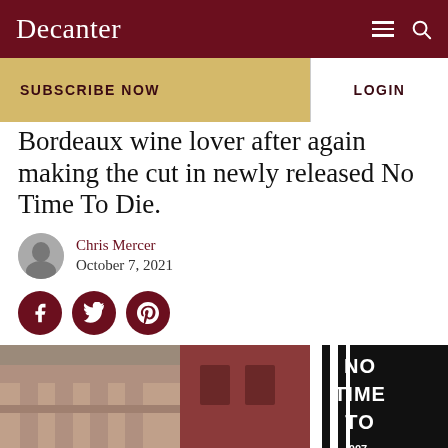Decanter
SUBSCRIBE NOW
LOGIN
Bordeaux wine lover after again making the cut in newly released No Time To Die.
Chris Mercer
October 7, 2021
[Figure (photo): No Time To Die movie premiere banner/poster with black and white graphics, and a building in the background.]